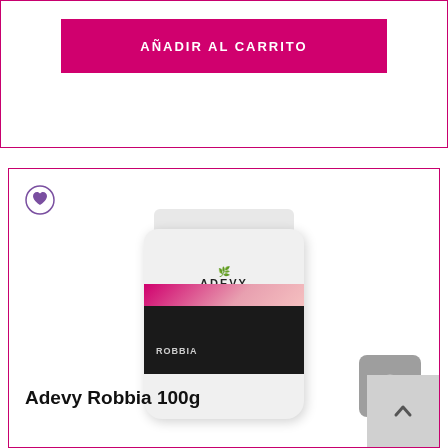[Figure (screenshot): Pink 'Añadir al carrito' (Add to cart) button inside a bordered box]
[Figure (photo): Product card showing Adevy Robbia 100g supplement bag with heart icon, eye/quick view button, and product title]